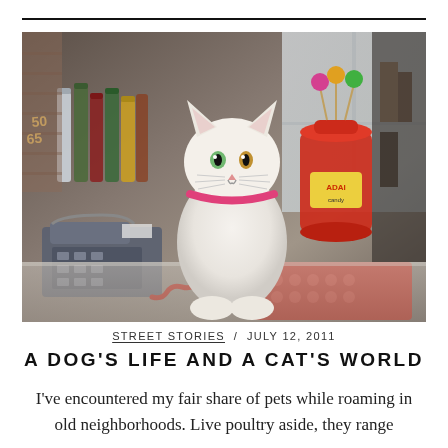[Figure (photo): A white cat with pink collar sitting on a glass counter between a gray telephone on the left and a red telephone on the right, with bottles and a red candy jar in the background.]
STREET STORIES / JULY 12, 2011
A DOG'S LIFE AND A CAT'S WORLD
I've encountered my fair share of pets while roaming in old neighborhoods. Live poultry aside, they range